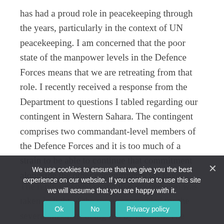has had a proud role in peacekeeping through the years, particularly in the context of UN peacekeeping. I am concerned that the poor state of the manpower levels in the Defence Forces means that we are retreating from that role. I recently received a response from the Department to questions I tabled regarding our contingent in Western Sahara. The contingent comprises two commandant-level members of the Defence Forces and it is too much of a strain to be able to continue that commitment alongside the other commitments we have.
We use cookies to ensure that we give you the best experience on our website. If you continue to use this site we will assume that you are happy with it.
The reply received stated that the decision was taken in light of the resources needed for the several missions being run by the idea. The House recently